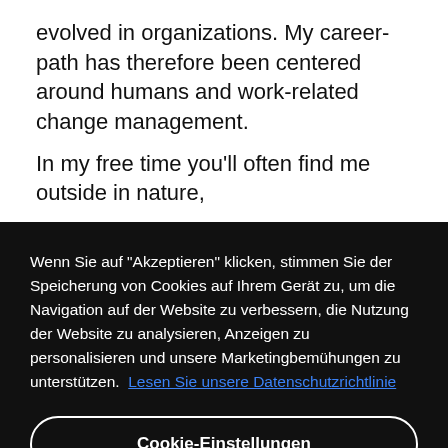evolved in organizations. My career-path has therefore been centered around humans and work-related change management.
In my free time you'll often find me outside in nature,
Wenn Sie auf "Akzeptieren" klicken, stimmen Sie der Speicherung von Cookies auf Ihrem Gerät zu, um die Navigation auf der Website zu verbessern, die Nutzung der Website zu analysieren, Anzeigen zu personalisieren und unsere Marketingbemühungen zu unterstützen.  Lesen Sie unsere Datenschutzrichtlinie
Cookie-Einstellungen
Alle ablehnen
Alle Cookies akzeptieren